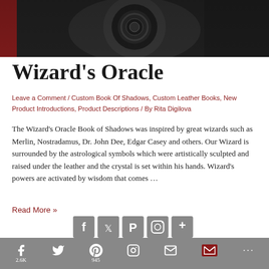[Figure (photo): Dark hero image with a metallic gear/crystal orb centered on a dark background]
Wizard's Oracle
Leave a Comment / Custom Book Of Shadows, Custom Leather Books, New Product Introductions, Product Descriptions / By Rita Digilova
The Wizard's Oracle Book of Shadows was inspired by great wizards such as Merlin, Nostradamus, Dr. John Dee, Edgar Casey and others. Our Wizard is surrounded by the astrological symbols which were artistically sculpted and raised under the leather and the crystal is set within his hands. Wizard's powers are activated by wisdom that comes …
Read More »
[Figure (other): Social share icons row: Facebook, Twitter, Pinterest, Instagram, More]
Facebook 2.6K  Twitter  Pinterest 945  Instagram  Email  Gmail  More